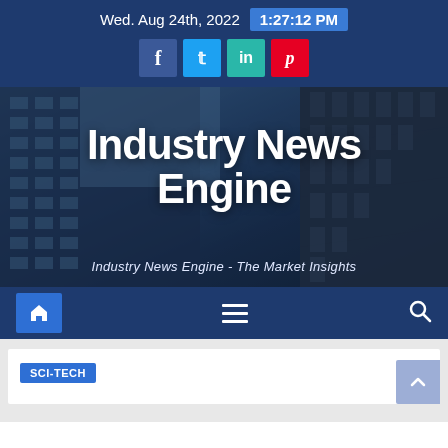Wed. Aug 24th, 2022  1:27:12 PM
Industry News Engine
Industry News Engine - The Market Insights
SCI-TECH